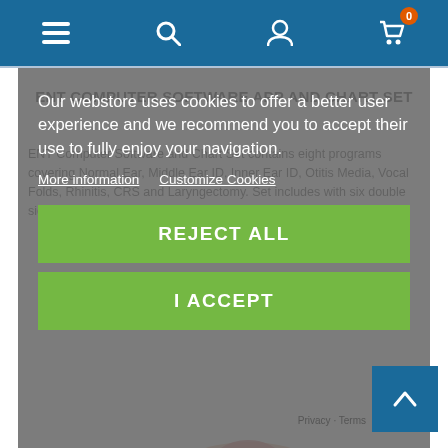Navigation bar with menu, search, account, and cart icons (cart shows badge: 0)
ENT COMPUTER SOFTWARE APP AND CHART SET
ENT Computer Software and Chart Set contains eight programs covering Normal Ear, Middle Ear ID, Inner Ear ID, Otitis Media, Vocal Folds, Rhinitis, CRS and Laryngectomy. Set includes with six double sided laminated A4 sized Anatomical Charts.
Our webstore uses cookies to offer a better user experience and we recommend you to accept their use to fully enjoy your navigation.
More information    Customize Cookies
REJECT ALL
I ACCEPT
[Figure (photo): Anatomical illustration of ENT (ear nose throat) anatomy showing laryngeal/throat structures in color]
Privacy · Terms